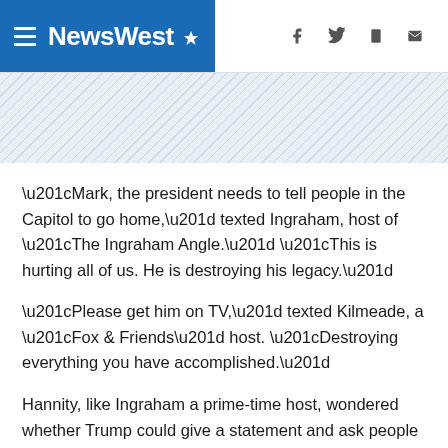NewsWest9
[Figure (logo): NewsWest9 logo with hamburger menu icon on blue background, with social media icons (Facebook, Twitter, mobile, email) on the right]
“Mark, the president needs to tell people in the Capitol to go home,” texted Ingraham, host of “The Ingraham Angle.” “This is hurting all of us. He is destroying his legacy.”
“Please get him on TV,” texted Kilmeade, a “Fox & Friends” host. “Destroying everything you have accomplished.”
Hannity, like Ingraham a prime-time host, wondered whether Trump could give a statement and ask people to leave the Capitol.
Cheney’s release of the text messages late Monday came a day after the most prominent hard-news journalist at Fox, Chris Wallace, announced he was leaving after 18 years for